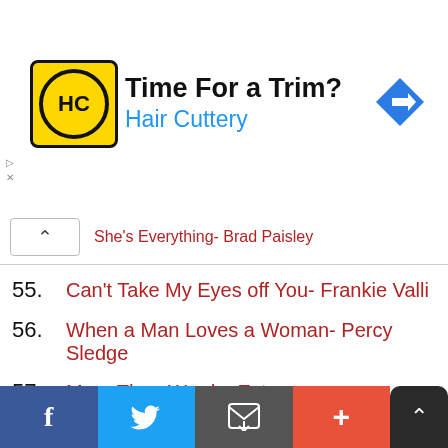[Figure (other): Hair Cuttery advertisement banner with logo and 'Time For a Trim?' text]
She's Everything- Brad Paisley
55.  Can't Take My Eyes off You- Frankie Valli
56.  When a Man Loves a Woman- Percy Sledge
57.  More Than Words- Extreme
58.  Behind Blue Eyes- The Who
59.  All My Life- K-Ci and JoJo
[Figure (other): Social media sharing footer bar with Facebook, Twitter, email, and plus buttons]